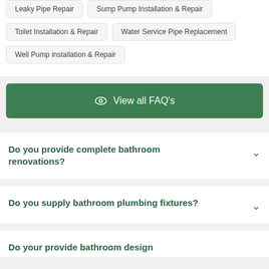Leaky Pipe Repair
Sump Pump Installation & Repair
Toilet Installation & Repair
Water Service Pipe Replacement
Well Pump installation & Repair
[Figure (other): Green button with eye icon labeled 'View all FAQ's']
Do you provide complete bathroom renovations?
Do you supply bathroom plumbing fixtures?
Do your provide bathroom design